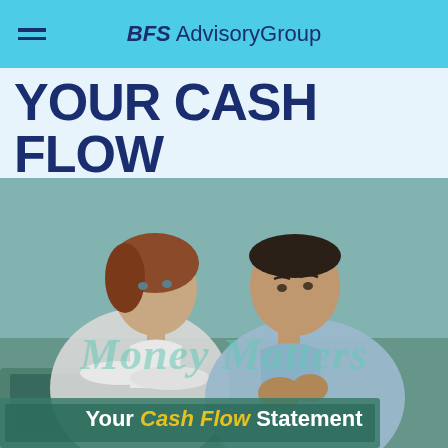BFS Advisory Group
YOUR CASH FLOW STATEMENT
[Figure (photo): A man and woman looking seriously at a laptop screen together; the woman in a white blouse leans forward with arms crossed, the man in a light blue shirt has his hands clasped. Overlay text reads 'Money Matters' and 'Your Cash Flow Statement'.]